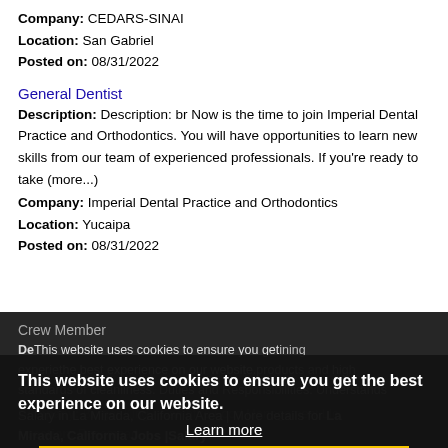Company: CEDARS-SINAI
Location: San Gabriel
Posted on: 08/31/2022
General Dentist
Description: Description: br Now is the time to join Imperial Dental Practice and Orthodontics. You will have opportunities to learn new skills from our team of experienced professionals. If you're ready to take (more...)
Company: Imperial Dental Practice and Orthodontics
Location: Yucaipa
Posted on: 08/31/2022
Crew Member
Description: ... training experience ... products and high standards of cleanliness. Duties and Responsibilities: Understands
Company: Burger King - Campfire Food Management Llc
Location: Rosemead
Posted on: 08/31/2022
This website uses cookies to ensure you get the best experience on our website.
Learn more
Got it!
Salary in La Mirada, California Area | More details for La Mirada, California Jobs |Salary